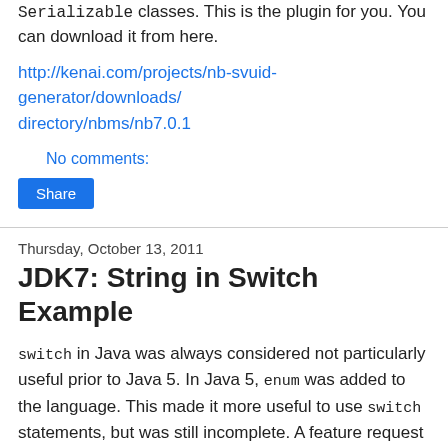Serializable classes. This is the plugin for you. You can download it from here.
http://kenai.com/projects/nb-svuid-generator/downloads/directory/nbms/nb7.0.1
No comments:
Share
Thursday, October 13, 2011
JDK7: String in Switch Example
switch in Java was always considered not particularly useful prior to Java 5. In Java 5, enum was added to the language. This made it more useful to use switch statements, but was still incomplete. A feature request that has been long in waiting is the ability to use a String in a switch.
Finally, in Java 7 SE we get the ability to use a String in a switch statement. This feature, I believe, will make the use of...